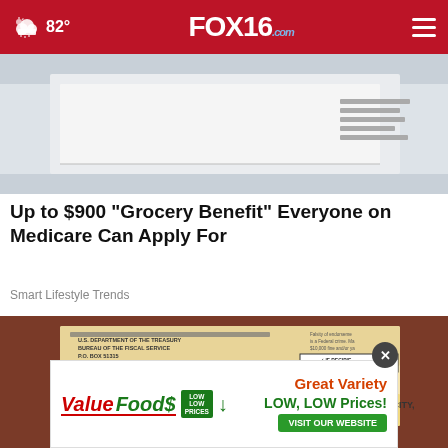FOX16.com — 82° navigation bar
[Figure (photo): Partial photo of a white envelope or document, close-up shot showing paper edge against light background]
Up to $900 "Grocery Benefit" Everyone on Medicare Can Apply For
Smart Lifestyle Trends
[Figure (photo): Photo of a U.S. government check from U.S. Department of the Treasury, Bureau of the Fiscal Service, P.O. Box 51315, Philadelphia, Pennsylvania 19115-6315. Check number area shows 04 24 20 2409880 Kansas City, 08464928692 041 438494 I]
[Figure (infographic): Value Foods advertisement: Great Variety LOW, LOW Prices! VISIT OUR WEBSITE]